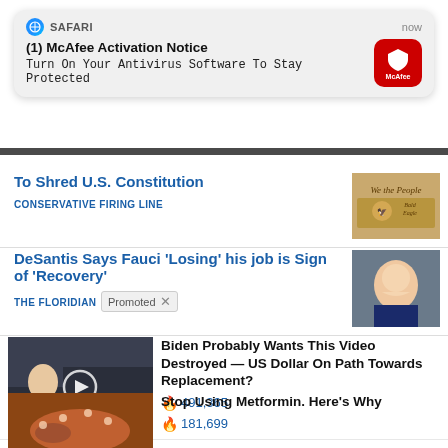[Figure (screenshot): Safari browser notification popup: '(1) McAfee Activation Notice - Turn On Your Antivirus Software To Stay Protected' with McAfee red icon, labeled 'now']
To Shred U.S. Constitution
CONSERVATIVE FIRING LINE
[Figure (photo): US Constitution document with eagle image]
DeSantis Says Fauci ‘Losing’ his job is Sign of ‘Recovery’
THE FLORIDIAN
[Figure (photo): Man in suit smiling, partially obscured]
[Figure (photo): Group of men in suits in official setting with play button overlay]
Biden Probably Wants This Video Destroyed — US Dollar On Path Towards Replacement?
🔥 491,365
[Figure (photo): Close-up medical image of internal organ (pancreas)]
Stop Using Metformin. Here’s Why
🔥 181,699